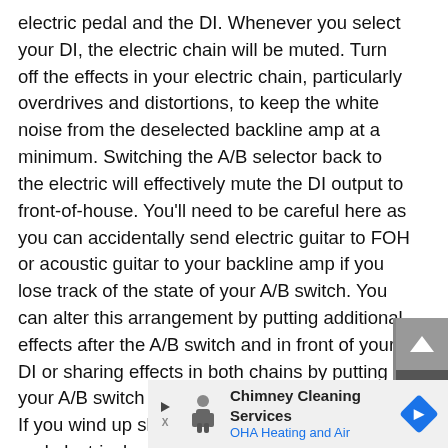electric pedal and the DI. Whenever you select your DI, the electric chain will be muted. Turn off the effects in your electric chain, particularly overdrives and distortions, to keep the white noise from the deselected backline amp at a minimum. Switching the A/B selector back to the electric will effectively mute the DI output to front-of-house. You'll need to be careful here as you can accidentally send electric guitar to FOH or acoustic guitar to your backline amp if you lose track of the state of your A/B switch. You can alter this arrangement by putting additional effects after the A/B switch and in front of your DI or sharing effects in both chains by putting your A/B switch after your electric-guitar effects. If you wind up sharing effects between acoustic and electric, be cautious about the settings of your overdrives and distortion pedals. Accidentally engaging one could lead to some surprising—and painfully loud—results. The line betwe
[Figure (other): Advertisement banner: Chimney Cleaning Services - OHA Heating and Air, with play and close controls]